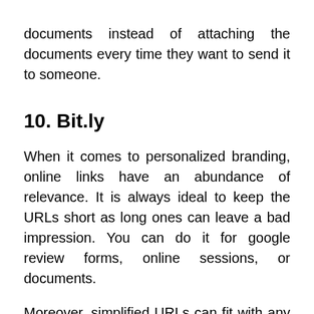documents instead of attaching the documents every time they want to send it to someone.
10. Bit.ly
When it comes to personalized branding, online links have an abundance of relevance. It is always ideal to keep the URLs short as long ones can leave a bad impression. You can do it for google review forms, online sessions, or documents.
Moreover, simplified URLs can fit with any marketing material and lead to hassle-free workflow. The perks leave a dramatic impression on your counselling business. Short links are likely to be